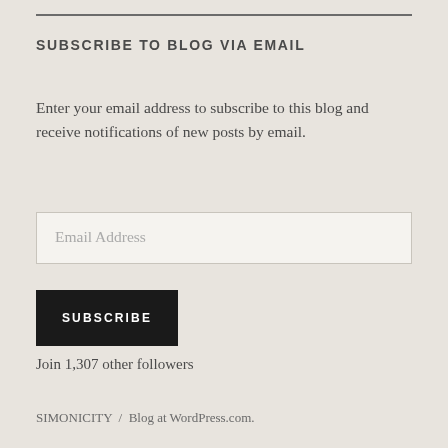SUBSCRIBE TO BLOG VIA EMAIL
Enter your email address to subscribe to this blog and receive notifications of new posts by email.
Email Address
SUBSCRIBE
Join 1,307 other followers
SIMONICITY  /  Blog at WordPress.com.